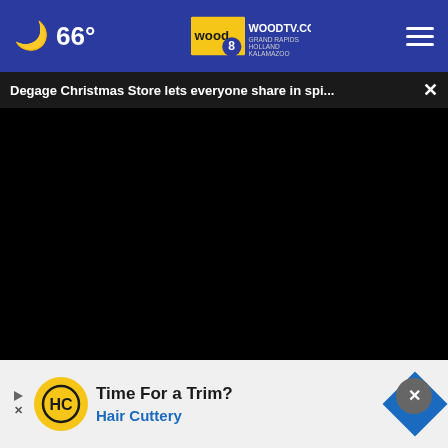66° WOODTV.COM GRAND RAPIDS HOLLAND KALAMAZOO
Degage Christmas Store lets everyone share in spi... ×
[Figure (screenshot): Black video player area]
[Figure (photo): Dark photo of a person with hands clasped, partially visible]
[Figure (infographic): Advertisement banner: Time For a Trim? Hair Cuttery with HC logo and navigation arrow icon]